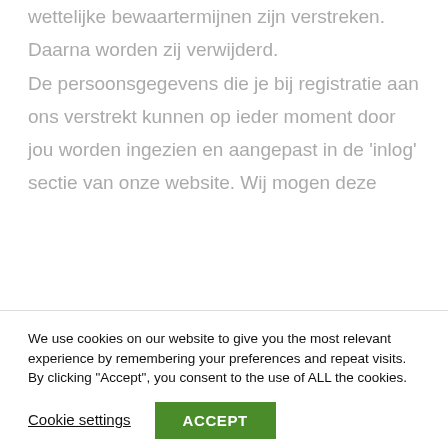worden de gegevens bewaard totdat de wettelijke bewaartermijnen zijn verstreken. Daarna worden zij verwijderd.

De persoonsgegevens die je bij registratie aan ons verstrekt kunnen op ieder moment door jou worden ingezien en aangepast in de 'inlog' sectie van onze website. Wij mogen deze
We use cookies on our website to give you the most relevant experience by remembering your preferences and repeat visits. By clicking "Accept", you consent to the use of ALL the cookies.
Cookie settings
ACCEPT